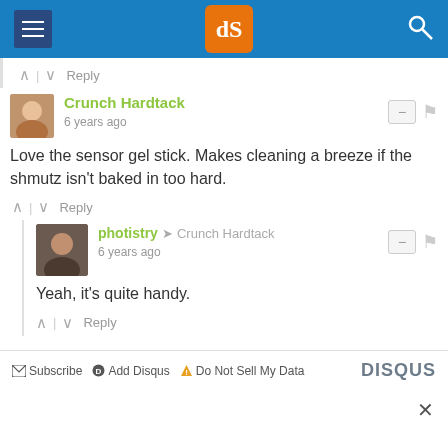dPS website header with menu, logo, and search
^ | v  Reply
Crunch Hardtack
6 years ago
Love the sensor gel stick. Makes cleaning a breeze if the shmutz isn't baked in too hard.
^ | v  Reply
photistry → Crunch Hardtack
6 years ago
Yeah, it's quite handy.
^ | v  Reply
Subscribe  Add Disqus  Do Not Sell My Data  DISQUS